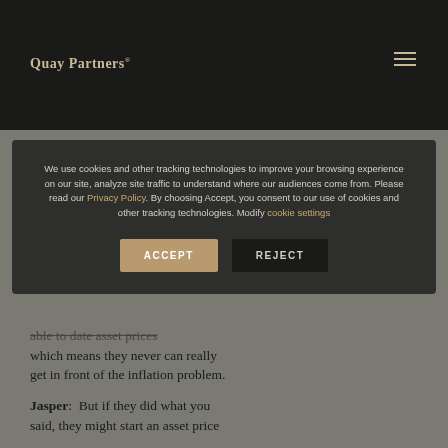Quay Partners®
We use cookies and other tracking technologies to improve your browsing experience on our site, analyze site traffic to understand where our audiences come from. Please read our Privacy Policy. By choosing Accept, you consent to our use of cookies and other tracking technologies. Modify cookie settings
ACCEPT
REJECT
...which means they never can really get in front of the inflation problem.
Jasper: But if they did what you said, they might start an asset price ...